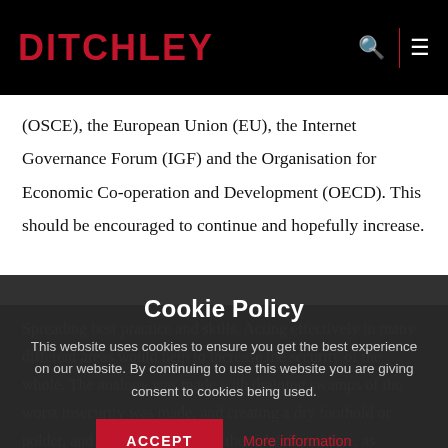DITCHLEY
(OSCE), the European Union (EU), the Internet Governance Forum (IGF) and the Organisation for Economic Co-operation and Development (OECD). This should be encouraged to continue and hopefully increase.
Spreading best practice and skills. Acting effectively in many different areas would help to increase the security of the whole. The analogy was made with draining swamps of the worst insecurity was made, and creating a dry foothold or polder, and then build out from there. With patience, as analogy with pass.
Cookie Policy
This website uses cookies to ensure you get the best experience on our website. By continuing to use this website you are giving consent to cookies being used.
ACCEPT
More information